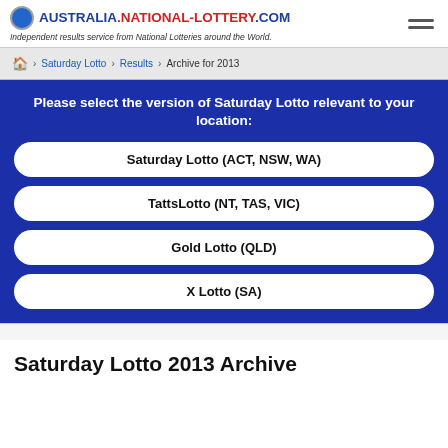AUSTRALIA.NATIONAL-LOTTERY.COM — Independent results service from National Lotteries around the World.
Home > Saturday Lotto > Results > Archive for 2013
Please select the version of Saturday Lotto relevant to your location:
Saturday Lotto (ACT, NSW, WA)
TattsLotto (NT, TAS, VIC)
Gold Lotto (QLD)
X Lotto (SA)
Saturday Lotto 2013 Archive